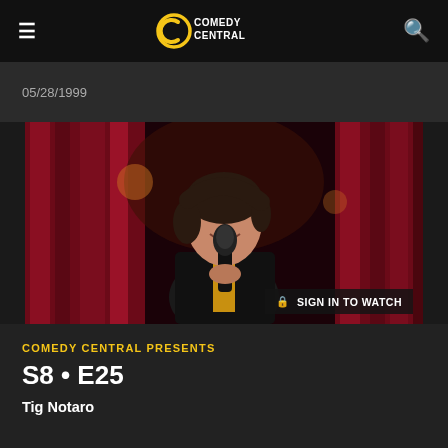Comedy Central
05/28/1999
[Figure (photo): A woman with short dark hair holding a microphone, performing stand-up comedy on stage with red curtains in background. Overlay text reads: SIGN IN TO WATCH]
COMEDY CENTRAL PRESENTS
S8 • E25
Tig Notaro